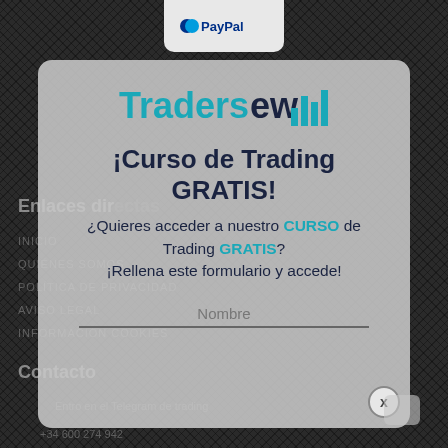[Figure (logo): PayPal logo button at top center of page]
[Figure (logo): Tradersew logo with teal text and bar chart icon]
¡Curso de Trading GRATIS!
¿Quieres acceder a nuestro CURSO de Trading GRATIS? ¡Rellena este formulario y accede!
Nombre
Enlaces directas
INICIO
QUIÉNES SOMOS
POLÍTICA DE PRIVACIDAD
AVISO LEGAL
INFORMACIÓN COOKIES
Contacto
Entro en el Telegram de trading
+34 600 274 942